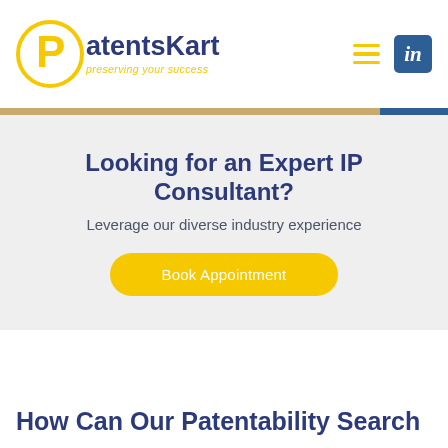[Figure (logo): PatentsKart logo with circular P icon in yellow and dark blue text, tagline 'preserving your success' in yellow italic]
[Figure (infographic): Hamburger menu icon in yellow and LinkedIn icon in white on dark blue square background]
Looking for an Expert IP Consultant?
Leverage our diverse industry experience
Book Appointment
How Can Our Patentability Search